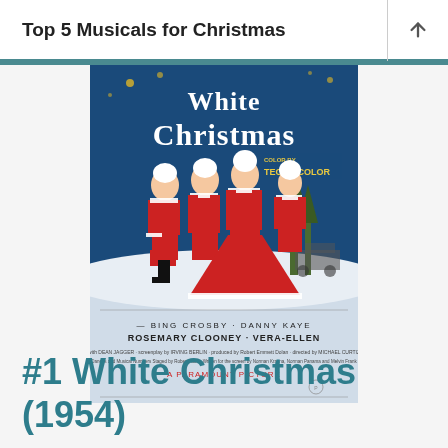Top 5 Musicals for Christmas
[Figure (photo): Movie poster for White Christmas (1954) — A Paramount Picture featuring Bing Crosby, Danny Kaye, Rosemary Clooney, and Vera-Ellen in red and white Santa outfits against a snowy background. Text reads: White Christmas, color by Technicolor, Bing Crosby · Danny Kaye, Rosemary Clooney · Vera-Ellen, Dean Jagger, Irving Berlin, Michael Curtiz, A Paramount Picture.]
#1 White Christmas (1954)